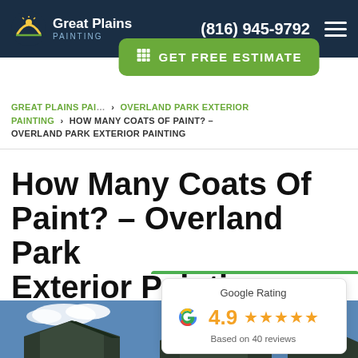Great Plains Painting | (816) 945-9792
GET FREE ESTIMATE
GREAT PLAINS PAINTING > OVERLAND PARK EXTERIOR PAINTING > HOW MANY COATS OF PAINT? – OVERLAND PARK EXTERIOR PAINTING
How Many Coats Of Paint? – Overland Park Exterior Painting
JANUARY 14, 2021
[Figure (infographic): Google Rating widget showing 4.9 stars based on 40 reviews]
[Figure (photo): Bottom strip showing exterior view of a house with blue sky background]